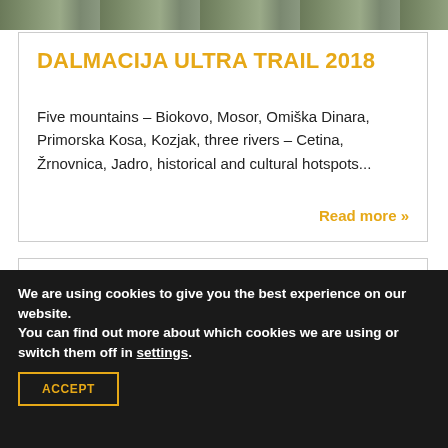[Figure (photo): Mountain landscape photo strip at top of page]
DALMACIJA ULTRA TRAIL 2018
Five mountains – Biokovo, Mosor, Omiška Dinara, Primorska Kosa, Kozjak, three rivers – Cetina, Žrnovnica, Jadro, historical and cultural hotspots...
Read more »
[Figure (photo): People photo partially visible at bottom of second card]
We are using cookies to give you the best experience on our website.
You can find out more about which cookies we are using or switch them off in settings.
ACCEPT